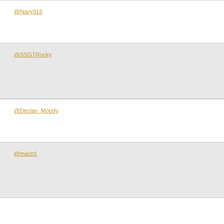@Navy315
@SSGTRocky
@Declan_Moody
@mach1